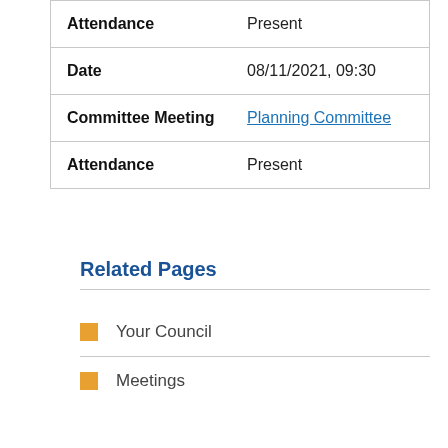| Field | Value |
| --- | --- |
| Attendance | Present |
| Date | 08/11/2021, 09:30 |
| Committee Meeting | Planning Committee |
| Attendance | Present |
Related Pages
Your Council
Meetings